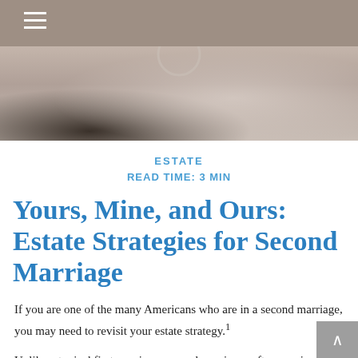[Figure (photo): Hero image showing wedding rings on a textured surface, with a circular logo/emblem partially visible at the top center]
ESTATE
READ TIME: 3 MIN
Yours, Mine, and Ours: Estate Strategies for Second Marriage
If you are one of the many Americans who are in a second marriage, you may need to revisit your estate strategy.1
Unlike a typical first marriage, second marriages often require special consideration in order to address children from a prior marriage and the disposition of assets